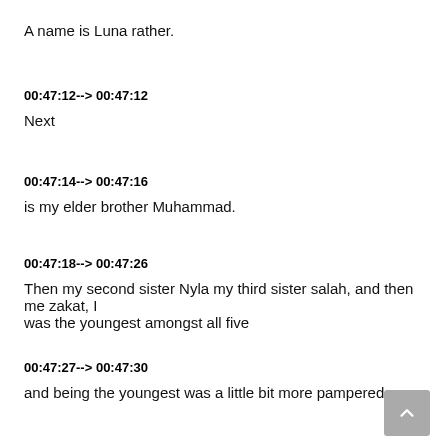A name is Luna rather.
00:47:12--> 00:47:12
Next
00:47:14--> 00:47:16
is my elder brother Muhammad.
00:47:18--> 00:47:26
Then my second sister Nyla my third sister salah, and then me zakat, I was the youngest amongst all five
00:47:27--> 00:47:30
and being the youngest was a little bit more pampered.